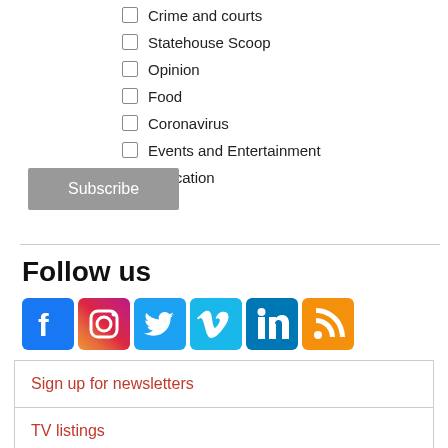Crime and courts
Statehouse Scoop
Opinion
Food
Coronavirus
Events and Entertainment
Education
Subscribe
Follow us
[Figure (infographic): Social media icons: Facebook, Instagram, Twitter, Vimeo, LinkedIn, RSS feed]
Sign up for newsletters
TV listings